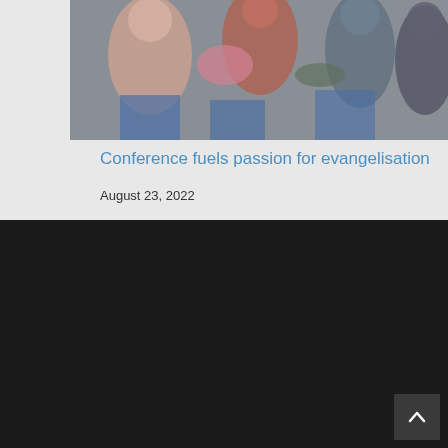[Figure (photo): People seated at a conference, wearing casual and warm clothing, blue chairs visible.]
Conference fuels passion for evangelisation
August 23, 2022
© 2019 Mater Dei Blakehurst & St Raphael Hurstville South
[Figure (logo): Catholic Archdiocese of Sydney logo with shield emblem and text 'DESIGN & HOSTING BY CATHOLIC COMMUNICATIONS']